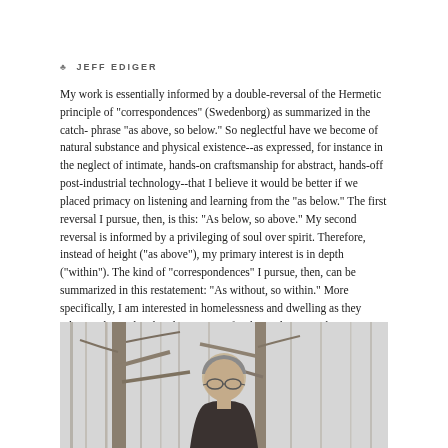♣ JEFF EDIGER
My work is essentially informed by a double-reversal of the Hermetic principle of "correspondences" (Swedenborg) as summarized in the catch-phrase "as above, so below." So neglectful have we become of natural substance and physical existence--as expressed, for instance in the neglect of intimate, hands-on craftsmanship for abstract, hands-off post-industrial technology--that I believe it would be better if we placed primacy on listening and learning from the "as below." The first reversal I pursue, then, is this: "As below, so above." My second reversal is informed by a privileging of soul over spirit. Therefore, instead of height ("as above"), my primary interest is in depth ("within"). The kind of "correspondences" I pursue, then, can be summarized in this restatement: "As without, so within." More specifically, I am interested in homelessness and dwelling as they relate to the soul. What does it mean for the soul to come home to itself as well as to communion with other souls? i explore three realms of domesticity for the sake of discerning correspondences to the soul's homecoming--dwelling, nourishment, and hospitality.
[Figure (photo): Portrait photograph of Jeff Ediger standing outdoors among bare winter trees, wearing glasses and a dark jacket, looking slightly upward.]